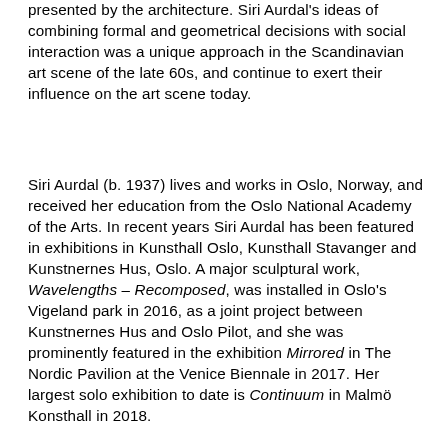presented by the architecture. Siri Aurdal's ideas of combining formal and geometrical decisions with social interaction was a unique approach in the Scandinavian art scene of the late 60s, and continue to exert their influence on the art scene today.
Siri Aurdal (b. 1937) lives and works in Oslo, Norway, and received her education from the Oslo National Academy of the Arts. In recent years Siri Aurdal has been featured in exhibitions in Kunsthall Oslo, Kunsthall Stavanger and Kunstnernes Hus, Oslo. A major sculptural work, Wavelengths – Recomposed, was installed in Oslo's Vigeland park in 2016, as a joint project between Kunstnernes Hus and Oslo Pilot, and she was prominently featured in the exhibition Mirrored in The Nordic Pavilion at the Venice Biennale in 2017. Her largest solo exhibition to date is Continuum in Malmö Konsthall in 2018.